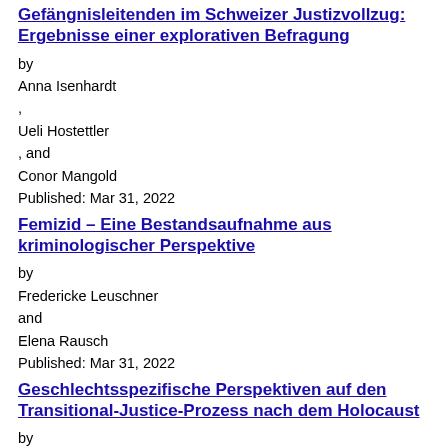Gefängnisleitenden im Schweizer Justizvollzug: Ergebnisse einer explorativen Befragung
by
Anna Isenhardt
,
Ueli Hostettler
, and
Conor Mangold
Published: Mar 31, 2022
Femizid – Eine Bestandsaufnahme aus kriminologischer Perspektive
by
Fredericke Leuschner
and
Elena Rausch
Published: Mar 31, 2022
Geschlechtsspezifische Perspektiven auf den Transitional-Justice-Prozess nach dem Holocaust
by